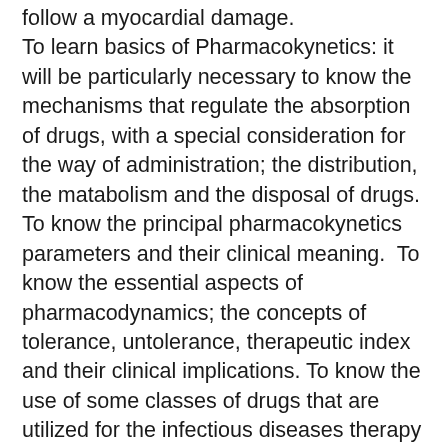follow a myocardial damage. To learn basics of Pharmacokynetics: it will be particularly necessary to know the mechanisms that regulate the absorption of drugs, with a special consideration for the way of administration; the distribution, the matabolism and the disposal of drugs. To know the principal pharmacokynetics parameters and their clinical meaning.  To know the essential aspects of pharmacodynamics; the concepts of  tolerance, untolerance, therapeutic index and their clinical implications. To know the use of some classes of drugs that are utilized for the infectious diseases therapy with a particula attention to the pertinence, the clinical use, the assessment of adverse reactions of antibiotics and of antiviral and antifungal therapies (outlines). To be informed about the drugs active on the autonomous nervous system. To know how to do simple calculations to set up the right dosage of drugs to be administered by oral or parenteral way.